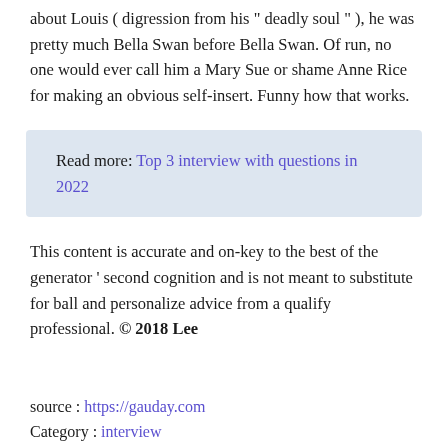about Louis ( digression from his " deadly soul " ), he was pretty much Bella Swan before Bella Swan. Of run, no one would ever call him a Mary Sue or shame Anne Rice for making an obvious self-insert. Funny how that works.
Read more: Top 3 interview with questions in 2022
This content is accurate and on-key to the best of the generator ' second cognition and is not meant to substitute for ball and personalize advice from a qualify professional. © 2018 Lee
source : https://gauday.com
Category : interview